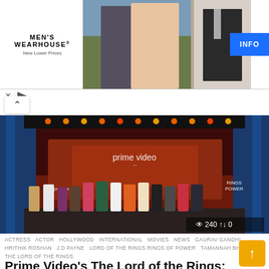[Figure (photo): Men's Wearhouse advertisement banner showing a couple in formal wear and a man in a suit with INFO button]
[Figure (photo): Prime Video Rings of Power Asia Pacific Premiere event photo showing cast members seated on stage with Prime Video and Rings of Power branding. Shows view count 240 and 0 shares.]
ACTRESS  ACTOR  HOLLYWOOD  INTERNATIONAL  MOVIES  NEWS  GAURAV GANDHI  HRITHIK ROSHAN  J.D PAYNE  LORD OF THE RINGS RINGS OF POWER  TAMANNAH BHATIA  THE LORD OF THE RINGS
Prime Video's The Lord of the Rings: The Rings of Power Asia Pacific Premiere Tour commences with a bang!